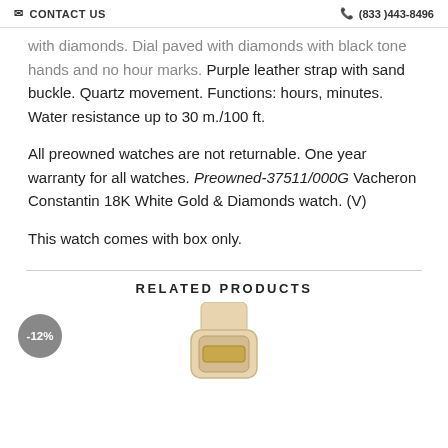CONTACT US | (833) 443-8496
with diamonds. Dial paved with diamonds with black tone hands and no hour marks. Purple leather strap with sand buckle. Quartz movement. Functions: hours, minutes. Water resistance up to 30 m./100 ft.
All preowned watches are not returnable. One year warranty for all watches. Preowned-37511/000G Vacheron Constantin 18K White Gold & Diamonds watch. (V)
This watch comes with box only.
RELATED PRODUCTS
[Figure (photo): Watch product image with -12% discount badge]